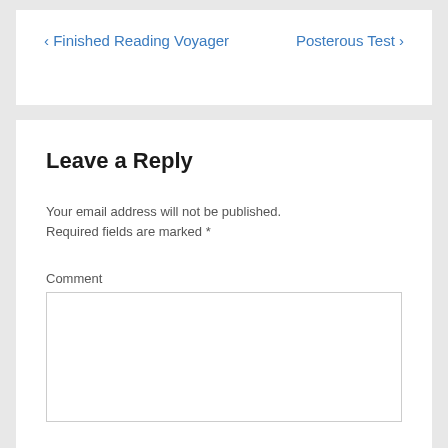‹ Finished Reading Voyager   Posterous Test ›
Leave a Reply
Your email address will not be published. Required fields are marked *
Comment